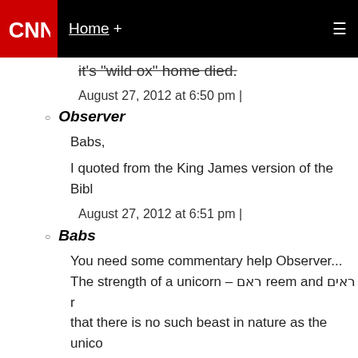CNN | Home +
it's "wild ox" home died.
August 27, 2012 at 6:50 pm |
Observer
Babs,
I quoted from the King James version of the Bibl...
August 27, 2012 at 6:51 pm |
Babs
You need some commentary help Observer... The strength of a unicorn – ראם reem and ראים r... that there is no such beast in nature as the unico... horse kind, with one long rich curled horn in the... painted from fancy is represented as one of the s... arms of Great Britain. It is difficult to say what ki... the original word. The Septuagint translate the w... unicorn, or one-horned animal; the Vulgate, some... the text rhinocerotis, by which the rhinoceros...